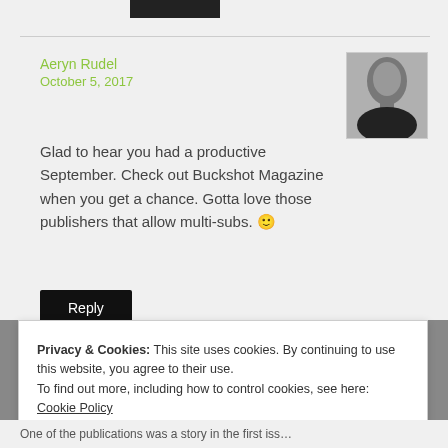[Figure (photo): Black redacted username bar at top of page]
Aeryn Rudel
October 5, 2017
[Figure (photo): Black and white portrait photo of a bald man]
Glad to hear you had a productive September. Check out Buckshot Magazine when you get a chance. Gotta love those publishers that allow multi-subs. 🙂
Reply
Privacy & Cookies: This site uses cookies. By continuing to use this website, you agree to their use.
To find out more, including how to control cookies, see here: Cookie Policy
Close and accept
One of the publications was a story in the first iss…